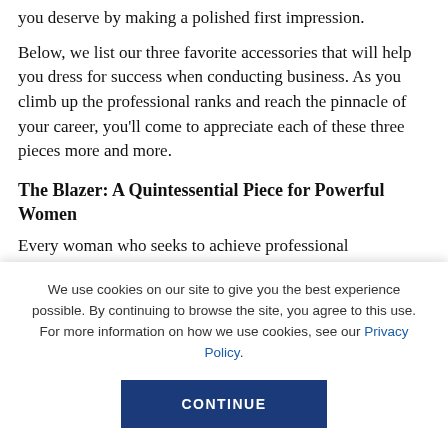you deserve by making a polished first impression.
Below, we list our three favorite accessories that will help you dress for success when conducting business. As you climb up the professional ranks and reach the pinnacle of your career, you’ll come to appreciate each of these three pieces more and more.
The Blazer: A Quintessential Piece for Powerful Women
Every woman who seeks to achieve professional
We use cookies on our site to give you the best experience possible. By continuing to browse the site, you agree to this use. For more information on how we use cookies, see our Privacy Policy.